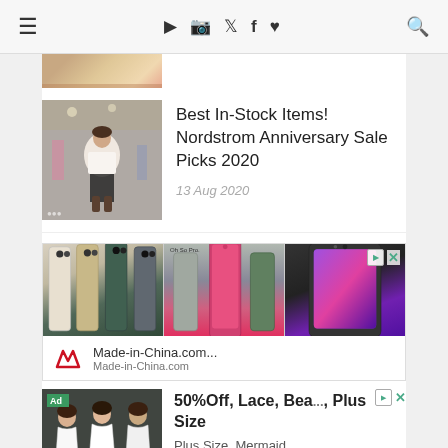≡  ▶  📷  𝕏  f  ♥  🔍
[Figure (photo): Cropped fashion photo at top of page]
[Figure (photo): Woman in white outfit at a venue]
Best In-Stock Items! Nordstrom Anniversary Sale Picks 2020
13 Aug 2020
[Figure (photo): Smartphone advertisement showing multiple phone models from Made-in-China.com]
Made-in-China.com...
Made-in-China.com
[Figure (photo): Women in white lace dresses ad]
50%Off, Lace, Bea..., Plus Size
Plus Size, Mermaid, Lace, Beach, Vintage